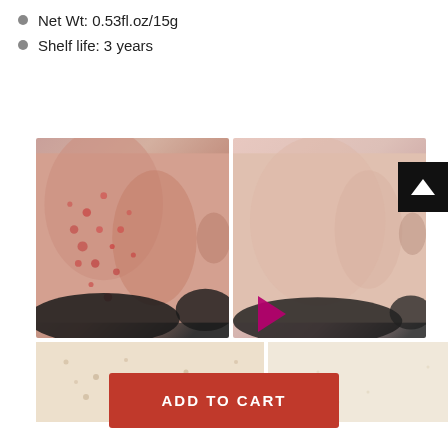Net Wt: 0.53fl.oz/15g
Shelf life: 3 years
[Figure (photo): Before and after comparison photos showing skin with acne (left) and clear skin (right), plus two close-up texture comparison photos below]
ADD TO CART